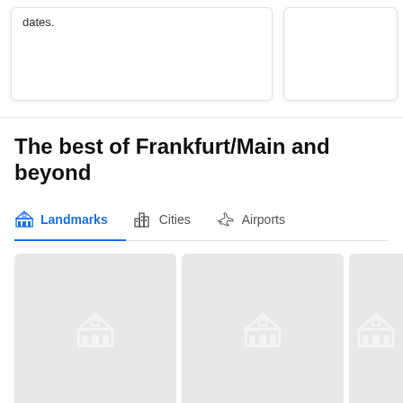dates.
The best of Frankfurt/Main and beyond
Landmarks | Cities | Airports
[Figure (screenshot): Three landmark image cards with placeholder landmark icons on grey backgrounds]